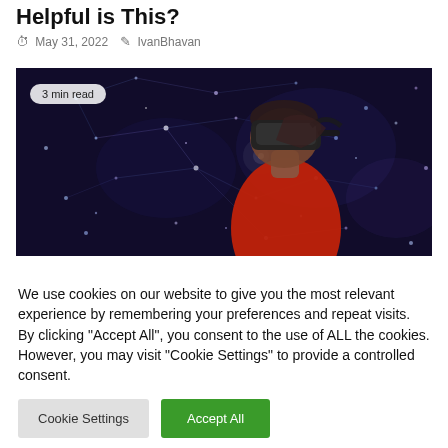Helpful is This?
May 31, 2022  IvanBhavan
[Figure (photo): A person wearing a VR headset and a red top, seen in profile against a vivid blue and purple network/particle visualization background. A badge reads '3 min read'.]
We use cookies on our website to give you the most relevant experience by remembering your preferences and repeat visits. By clicking "Accept All", you consent to the use of ALL the cookies. However, you may visit "Cookie Settings" to provide a controlled consent.
Cookie Settings  Accept All